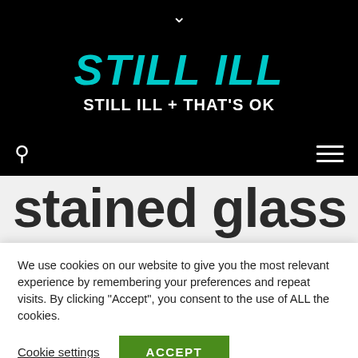STILL ILL — STILL ILL + THAT'S OK
STILL ILL
STILL ILL + THAT'S OK
stained glass
We use cookies on our website to give you the most relevant experience by remembering your preferences and repeat visits. By clicking "Accept", you consent to the use of ALL the cookies.
Cookie settings
ACCEPT